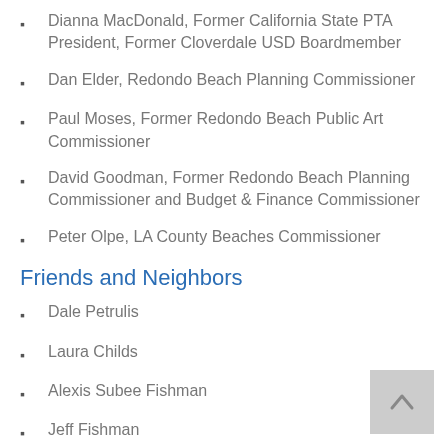Dianna MacDonald, Former California State PTA President, Former Cloverdale USD Boardmember
Dan Elder, Redondo Beach Planning Commissioner
Paul Moses, Former Redondo Beach Public Art Commissioner
David Goodman, Former Redondo Beach Planning Commissioner and Budget & Finance Commissioner
Peter Olpe, LA County Beaches Commissioner
Friends and Neighbors
Dale Petrulis
Laura Childs
Alexis Subee Fishman
Jeff Fishman